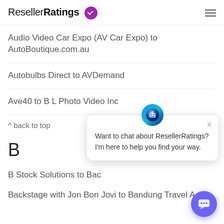ResellerRatings
Audio Video Car Expo (AV Car Expo) to AutoBoutique.com.au
Autobulbs Direct to AVDemand
Ave40 to B L Photo Video Inc
^ back to top
B
B Stock Solutions to Bac
Backstage with Jon Bon Jovi to Bandung Travel A
[Figure (screenshot): Chat popup overlay with robot avatar, close button, and text: Want to chat about ResellerRatings? I'm here to help you find your way.]